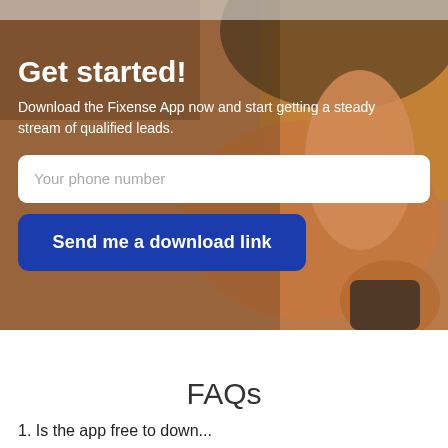[Figure (photo): A person holding a smartphone, with a blurred warm orange/brown background. A hand is prominently gripping a phone. The image serves as the hero background for a mobile app download call-to-action section.]
Get started!
Download the Fixense App now and start getting a steady stream of qualified leads.
Your phone number
Send me a download link
FAQs
1. Is the app free to down...